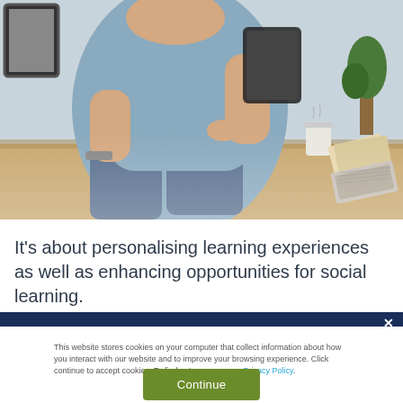[Figure (photo): Person in blue shirt sitting cross-legged holding a tablet, with a coffee cup and books on a desk in the background]
It's about personalising learning experiences as well as enhancing opportunities for social learning.
This website stores cookies on your computer that collect information about how you interact with our website and to improve your browsing experience. Click continue to accept cookies. To find out more see our Privacy Policy.
Continue